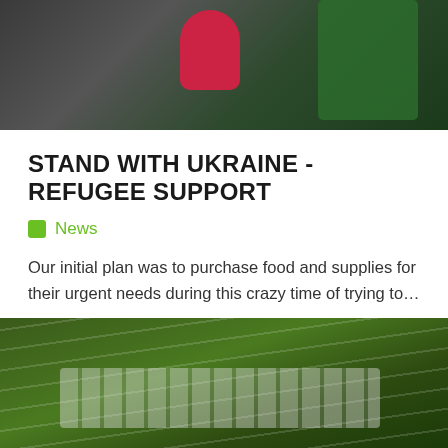[Figure (photo): Partial photo of a child in a pink polka-dot jacket and green blanket in a dark vehicle interior]
STAND WITH UKRAINE - REFUGEE SUPPORT
News
Our initial plan was to purchase food and supplies for their urgent needs during this crazy time of trying to…
May 16, 2022   0   3450
[Figure (photo): Aerial photo of terraced agricultural fields with irrigation pipes running along the rows]